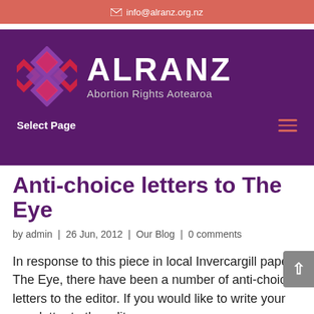✉ info@alranz.org.nz
[Figure (logo): ALRANZ Abortion Rights Aotearoa logo with decorative cross/diamond motif in pink, red, and purple on a dark purple banner background]
Anti-choice letters to The Eye
by admin | 26 Jun, 2012 | Our Blog | 0 comments
In response to this piece in local Invercargill paper The Eye, there have been a number of anti-choice letters to the editor. If you would like to write your own letter to the editor, you